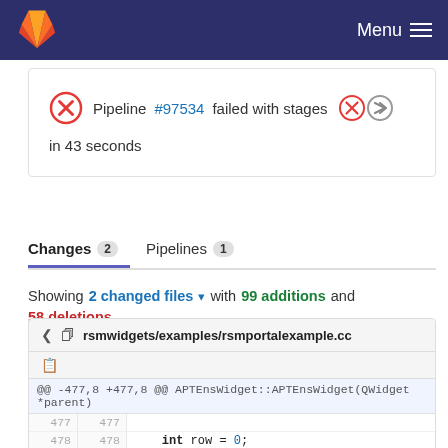GitLab — Menu
Pipeline #97534 failed with stages in 43 seconds
Changes 2   Pipelines 1
Showing 2 changed files with 99 additions and 58 deletions
rsmwidgets/examples/rsmportalexample.cc
@@ -477,8 +477,8 @@ APTEnsWidget::APTEnsWidget(QWidget *parent)
477   477
478   478      int row = 0;